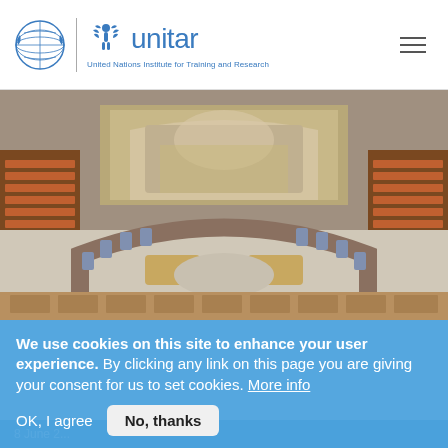UNITAR - United Nations Institute for Training and Research
[Figure (photo): UN Security Council chamber with horseshoe-shaped table, blue chairs, and large mural on back wall]
We use cookies on this site to enhance your user experience. By clicking any link on this page you are giving your consent for us to set cookies. More info
OK, I agree  No, thanks